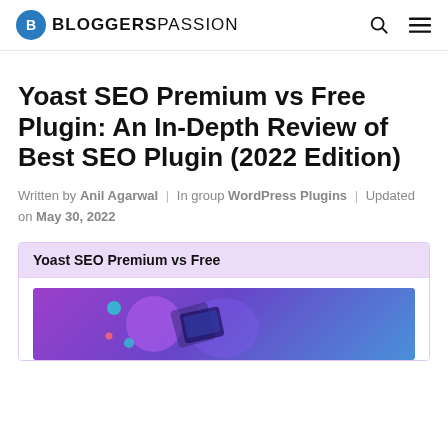BLOGGERSPASSION
Yoast SEO Premium vs Free Plugin: An In-Depth Review of Best SEO Plugin (2022 Edition)
Written by Anil Agarwal | In group WordPress Plugins | Updated on May 30, 2022
Yoast SEO Premium vs Free
[Figure (illustration): Colorful illustration with purple/blue gradient background showing abstract shapes related to Yoast SEO plugin]